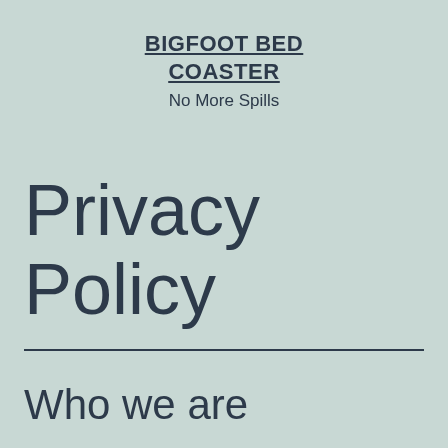BIGFOOT BED COASTER
No More Spills
Privacy Policy
Who we are